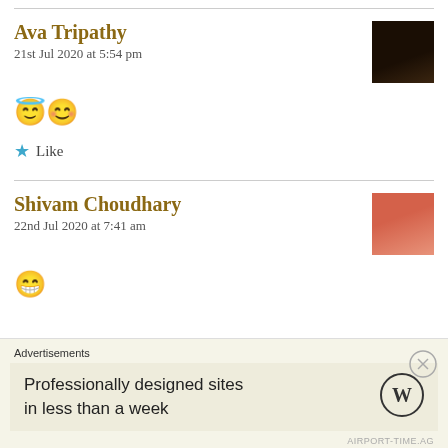Ava Tripathy
21st Jul 2020 at 5:54 pm
😇😊
★ Like
Shivam Choudhary
22nd Jul 2020 at 7:41 am
😁
Advertisements
Professionally designed sites in less than a week